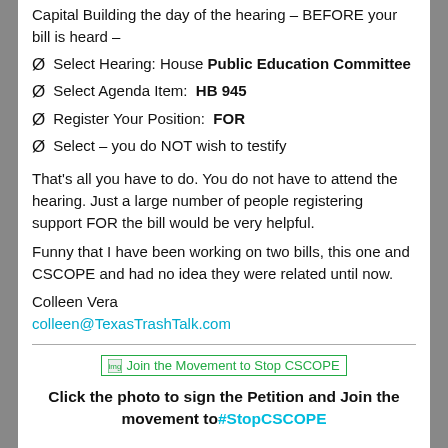Capital Building the day of the hearing – BEFORE your bill is heard –
Ø  Select Hearing: House Public Education Committee
Ø  Select Agenda Item:  HB 945
Ø  Register Your Position:  FOR
Ø  Select  – you do NOT wish to testify
That's all you have to do. You do not have to attend the hearing. Just a large number of people registering support FOR the bill would be very helpful.
Funny that I have been working on two bills, this one and CSCOPE and had no idea they were related until now.
Colleen Vera
colleen@TexasTrashTalk.com
[Figure (illustration): Join the Movement to Stop CSCOPE clickable image link]
Click the photo to sign the Petition and Join the movement to #StopCSCOPE
Women On the Wall  takes on the issues that matter. Sharing information and updates on our weekly radio